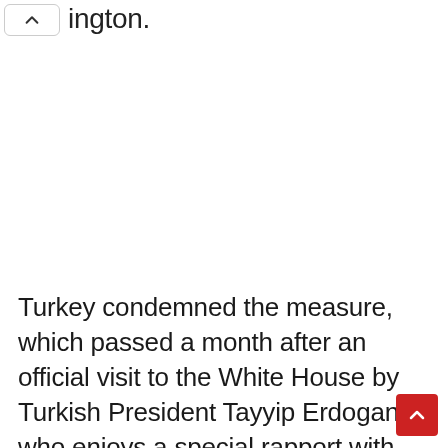ington.
Turkey condemned the measure, which passed a month after an official visit to the White House by Turkish President Tayyip Erdogan, who enjoys a special rapport with President Donald Trump, amid mounting issues that have soured the relationship between the two NATO allies